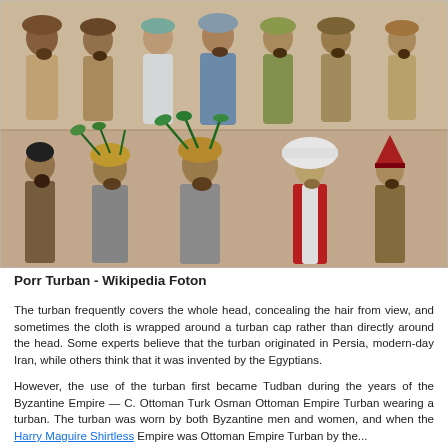[Figure (illustration): Two rows of historical illustrations showing men wearing various styles of turbans and headwear. Top row shows profiles of men in turbans of different styles and colors (brown, blue, green, teal). Bottom row shows full figures of men in elaborate turbans including peacock-feathered headdresses, a large white turban, and a red conical hat.]
Porr Turban - Wikipedia Foton
The turban frequently covers the whole head, concealing the hair from view, and sometimes the cloth is wrapped around a turban cap rather than directly around the head. Some experts believe that the turban originated in Persia, modern-day Iran, while others think that it was invented by the Egyptians.
However, the use of the turban first became Tudban during the years of the Byzantine Empire — C. Ottoman Turk Osman Ottoman Empire Turban wearing a turban. The turban was worn by both Byzantine men and women, and when the Harry Maguire Shirtless Empire was Ottoman Empire Turban by the...